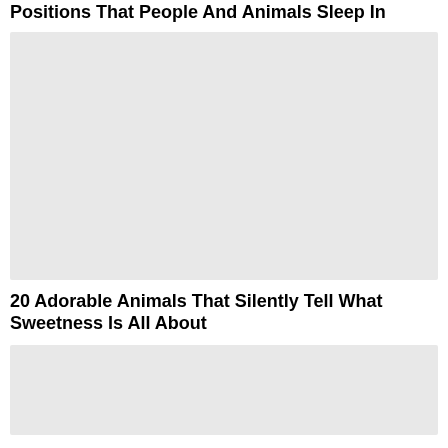Positions That People And Animals Sleep In
[Figure (photo): Placeholder image (light gray rectangle) for a photo related to sleeping positions of people and animals]
20 Adorable Animals That Silently Tell What Sweetness Is All About
[Figure (photo): Placeholder image (light gray rectangle) for a photo related to adorable animals]